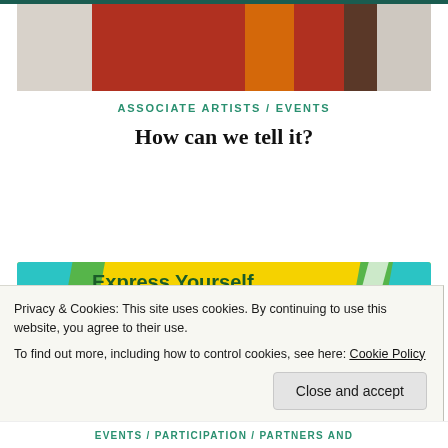[Figure (photo): Partial photo showing people in traditional/colorful clothing including a red and orange sari]
ASSOCIATE ARTISTS / EVENTS
How can we tell it?
[Figure (illustration): Colorful banner graphic with teal, green, and yellow shapes reading 'Express Yourself Through Stories' with tagline text partially visible]
Privacy & Cookies: This site uses cookies. By continuing to use this website, you agree to their use.
To find out more, including how to control cookies, see here: Cookie Policy
Close and accept
EVENTS / PARTICIPATION / PARTNERS AND